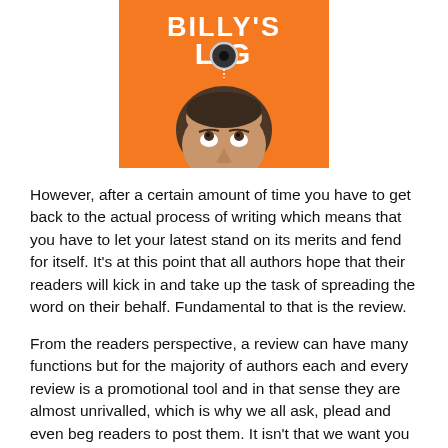[Figure (illustration): Book cover showing 'BILLY'S LOG' text on orange background with a peephole graphic and a man's face looking up]
However, after a certain amount of time you have to get back to the actual process of writing which means that you have to let your latest stand on its merits and fend for itself. It's at this point that all authors hope that their readers will kick in and take up the task of spreading the word on their behalf. Fundamental to that is the review.
From the readers perspective, a review can have many functions but for the majority of authors each and every review is a promotional tool and in that sense they are almost unrivalled, which is why we all ask, plead and even beg readers to post them. It isn't that we want you to boost our self-esteem (nice though that is!) it's because the simple truth of